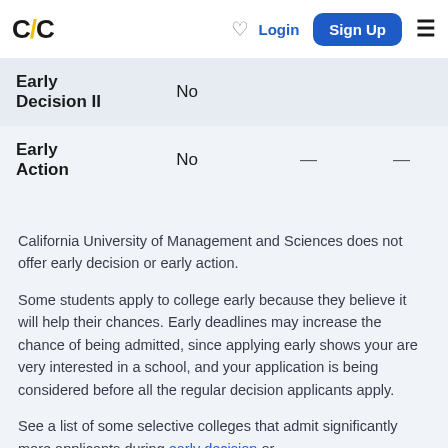C/C | Login | Sign Up
| Type | Available | Deadline | Notification |
| --- | --- | --- | --- |
| Early Decision II | No |  |  |
| Early Action | No | — | — |
California University of Management and Sciences does not offer early decision or early action.
Some students apply to college early because they believe it will help their chances. Early deadlines may increase the chance of being admitted, since applying early shows your are very interested in a school, and your application is being considered before all the regular decision applicants apply.
See a list of some selective colleges that admit significantly more applicants during early decision or early action than regular decision.